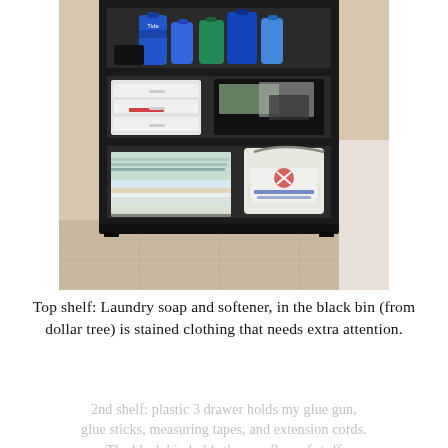[Figure (photo): A black shelving unit in a laundry/utility room. Top shelf has laundry soap and softener bottles (blue and green). Middle shelf has a white plastic 3-drawer unit on the left and a black bin with bags on the right. Bottom shelf has stacked papers/folders on the left and a white 5-gallon bucket on the right. The unit sits on a light tile floor.]
Top shelf: Laundry soap and softener, in the black bin (from dollar tree) is stained clothing that needs extra attention.
2nd shelf: plastic 3 drawer holds my glue gun, glue sticks, measuring tapes, and extension cords. The black bin holds the overflow of stuff